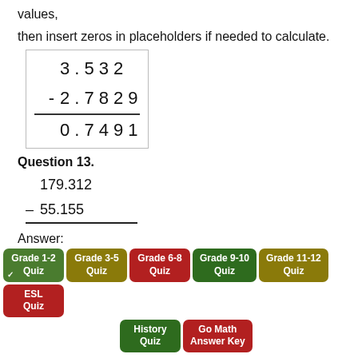values,
then insert zeros in placeholders if needed to calculate.
Question 13.
Answer:
124.157
Explanation:
Grade 1-2 Quiz | Grade 3-5 Quiz | Grade 6-8 Quiz | Grade 9-10 Quiz | Grade 11-12 Quiz | ESL Quiz | History Quiz | Go Math Answer Key